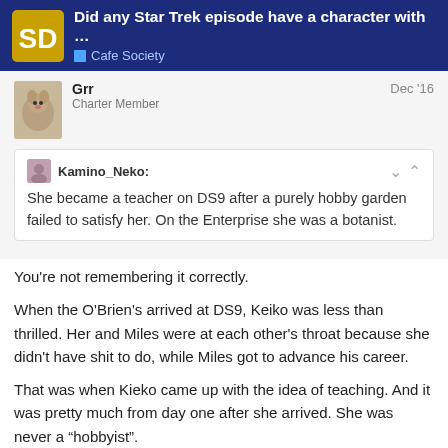Did any Star Trek episode have a character with ... | Cafe Society
Grr
Charter Member
Dec '16
Kamino_Neko:
She became a teacher on DS9 after a purely hobby garden failed to satisfy her. On the Enterprise she was a botanist.
You're not remembering it correctly.
When the O'Brien's arrived at DS9, Keiko was less than thrilled. Her and Miles were at each other's throat because she didn't have shit to do, while Miles got to advance his career.
That was when Kieko came up with the idea of teaching. And it was pretty much from day one after she arrived. She was never a “hobbyist”.
17 / 155